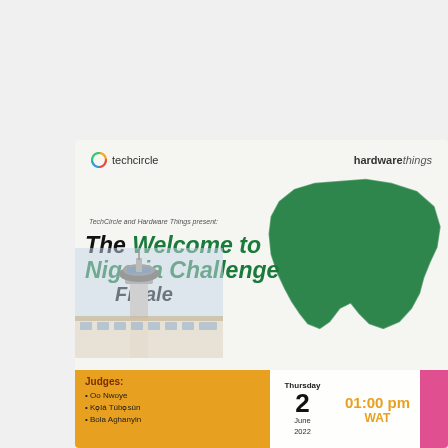[Figure (infographic): Event flyer for 'The Welcome to Nigeria Challenge Finale' by TechCircle and Hardware Things. Features Nigeria map shape in green, airport control tower photo, brand logos, and event details including judges list, date (Thursday 2 June 2022) and time (01:00 pm WAT).]
TechCircle and Hardware Things present:
The Welcome to Nigeria Challenge Finale
Judges:
Oo Nwoye
Kọlá Túbọsún
Bola Aghanyin
Thursday 2 June 2022
01:00 pm WAT